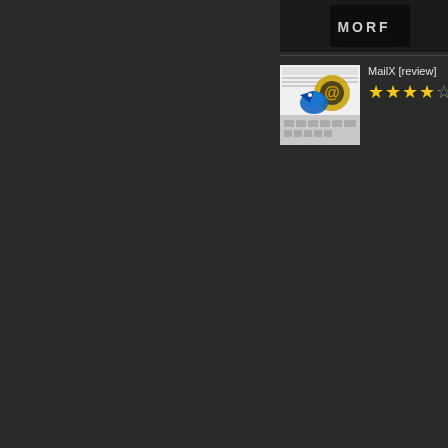[Figure (screenshot): Thumbnail image showing text 'MORF' on dark background]
[Figure (screenshot): Thumbnail of MailX app review showing email client screenshot with @ symbol and Thunderbird-like icon over keyboard]
MailX [review]
[Figure (other): 4 filled stars and 1 half/empty star rating for MailX]